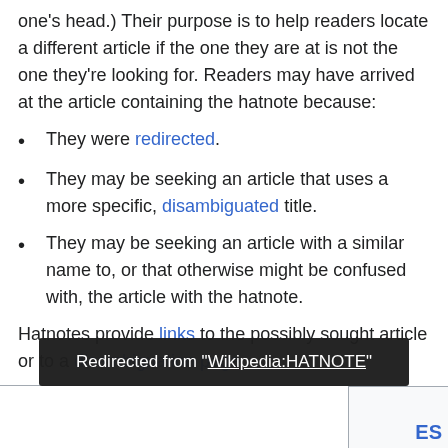one's head.) Their purpose is to help readers locate a different article if the one they are at is not the one they're looking for. Readers may have arrived at the article containing the hatnote because:
They were redirected.
They may be seeking an article that uses a more specific, disambiguated title.
They may be seeking an article with a similar name to, or that otherwise might be confused with, the article with the hatnote.
Hatnotes provide links to the possibly sought article or to a disambiguation page.
The ... are:
Redirected from "Wikipedia:HATNOTE"